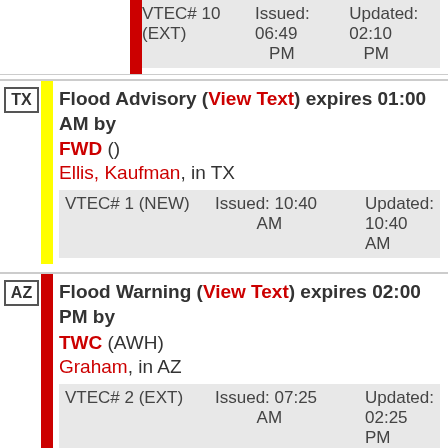| State | Alert | VTEC/Issued/Updated |
| --- | --- | --- |
|  | VTEC# 10 (EXT) Issued: 06:49 PM | Updated: 02:10 PM |
| TX | Flood Advisory (View Text) expires 01:00 AM by FWD () Ellis, Kaufman, in TX VTEC# 1 (NEW) Issued: 10:40 AM | Updated: 10:40 AM |
| AZ | Flood Warning (View Text) expires 02:00 PM by TWC (AWH) Graham, in AZ VTEC# 2 (EXT) Issued: 07:25 AM | Updated: 02:25 PM |
| TX | Flood Warning (View Text) expires 03:45 PM by FWD (Shamburger) Dallas, in TX |  |